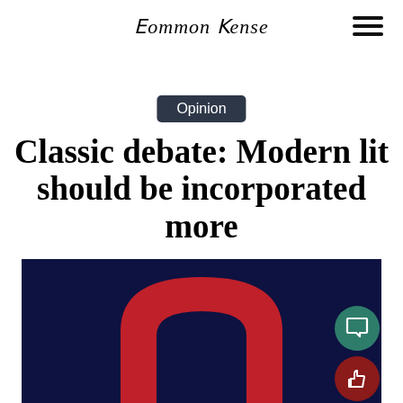Common Sense
Opinion
Classic debate: Modern lit should be incorporated more
[Figure (illustration): Dark navy blue background with a large red arch/horseshoe shape centered on it, resembling the letter O or an open book spine. A green circular comment button and a dark red circular like/thumbs-up button are overlaid on the lower right corner.]